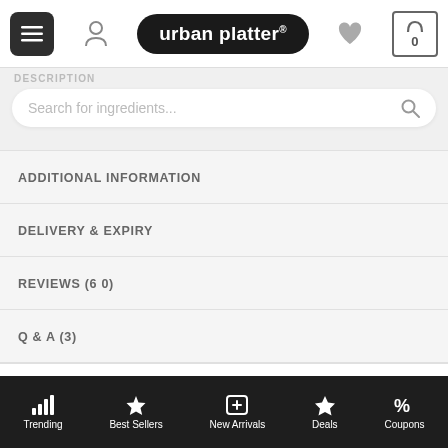[Figure (screenshot): Urban Platter app top navigation bar with menu button, user icon, logo, heart icon, and cart (0)]
DESCRIPTION
Search for ingredients...
ADDITIONAL INFORMATION
DELIVERY & EXPIRY
REVIEWS (6 0)
Q & A (3)
YOUTUBE VIDEOS
LEGAL DISCLAIMER
Urban Platter Natural Creamy Peanut Butter, 1kg / 35.2oz [Unsweetened, No Added Oil
Trending | Best Sellers | New Arrivals | Deals | Coupons